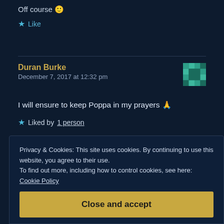Off course 🙂
★ Like
Duran Burke
December 7, 2017 at 12:32 pm
I will ensure to keep Poppa in my prayers 🙏
★ Liked by 1 person
Privacy & Cookies: This site uses cookies. By continuing to use this website, you agree to their use.
To find out more, including how to control cookies, see here: Cookie Policy
Close and accept